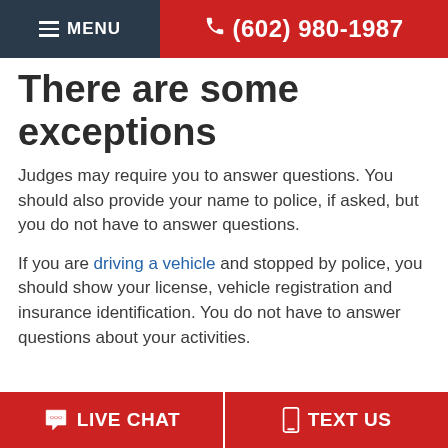MENU  (602) 980-1987
There are some exceptions
Judges may require you to answer questions. You should also provide your name to police, if asked, but you do not have to answer questions.
If you are driving a vehicle and stopped by police, you should show your license, vehicle registration and insurance identification. You do not have to answer questions about your activities.
LIVE CHAT   TEXT US